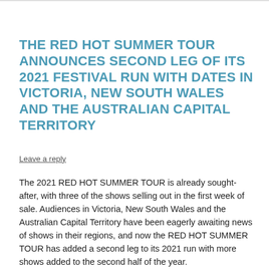THE RED HOT SUMMER TOUR ANNOUNCES SECOND LEG OF ITS 2021 FESTIVAL RUN WITH DATES IN VICTORIA, NEW SOUTH WALES AND THE AUSTRALIAN CAPITAL TERRITORY
Leave a reply
The 2021 RED HOT SUMMER TOUR is already sought-after, with three of the shows selling out in the first week of sale. Audiences in Victoria, New South Wales and the Australian Capital Territory have been eagerly awaiting news of shows in their regions, and now the RED HOT SUMMER TOUR has added a second leg to its 2021 run with more shows added to the second half of the year.